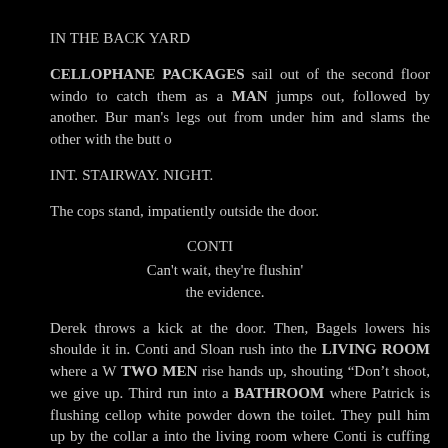IN THE BACK YARD
CELLOPHANE PACKAGES sail out of the second floor windo to catch them as a MAN jumps out, followed by another. Bur man's legs out from under him and slams the other with the butt o
INT. STAIRWAY. NIGHT.
The cops stand, impatiently outside the door.
CONTI
Can't wait, they're flushin' the evidence.
Derek throws a kick at the door. Then, Bagels lowers his shoulde it in. Conti and Sloan rush into the LIVING ROOM where a W TWO MEN rise hands up, shouting "Don't shoot, we give up. Third run into a BATHROOM where Patrick is flushing cellop white powder down the toilet. They pull him up by the collar a into the living room where Conti is cuffing the others and Sloa into two SUITCASES full of cellophane bags.